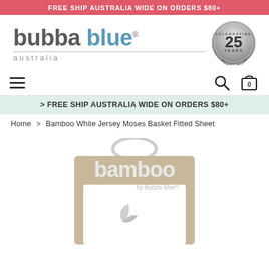FREE SHIP AUSTRALIA WIDE ON ORDERS $80+
[Figure (logo): Bubba Blue Australia logo with '25 Years Celebrating Bubba Blue' badge]
[Figure (other): Navigation bar with hamburger menu, search icon, and shopping bag icon showing 0 items]
> FREE SHIP AUSTRALIA WIDE ON ORDERS $80+
Home > Bamboo White Jersey Moses Basket Fitted Sheet
[Figure (photo): Product packaging showing 'bamboo by Bubba Blue' branding on a tan/beige box, partially visible at bottom of page]